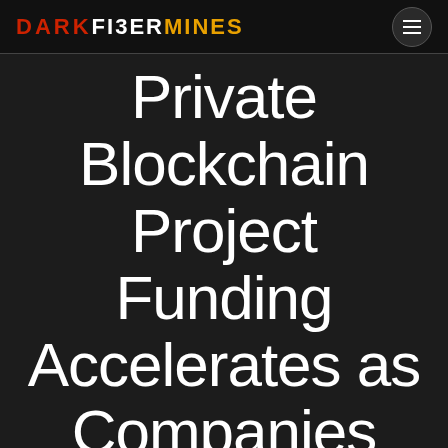DARKFIBERMINES
Private Blockchain Project Funding Accelerates as Companies Race to Address New Needs